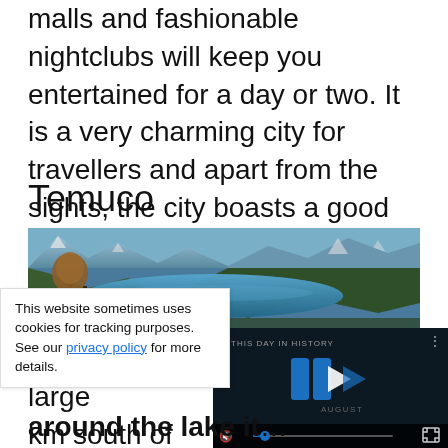malls and fashionable nightclubs will keep you entertained for a day or two. It is a very charming city for travellers and apart from the sights, the city boasts a good tourist infrastructure with hotels and restaurants.
Temuco
[Figure (photo): Panoramic landscape photo of a blue lake surrounded by forested hills and snow-capped mountains, likely near Temuco, Chile.]
Temuco is a large city located km south of Santiago...
[Figure (screenshot): Video player overlay showing 'THIS DAY IN HISTORY' with a blue logo, play button, mute icon, progress bar, and fullscreen button. Month label reads AUGUST.]
This website sometimes uses cookies for tracking purposes. See our privacy policy for more details.
around the lake it...